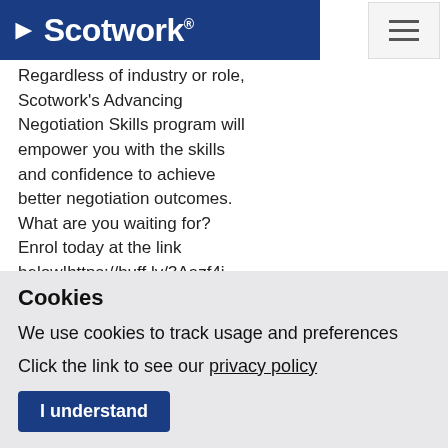[Figure (logo): Scotwork logo — white arrow and text 'Scotwork' with registered mark on a dark blue background, with a hamburger menu icon on the right]
Regardless of industry or role, Scotwork's Advancing Negotiation Skills program will empower you with the skills and confidence to achieve better negotiation outcomes. What are you waiting for? Enrol today at the link below!https://buff.ly/3Aazf4j #Scotwork #Negotiation
Latest Blog
Conversations That Count
We have speed dating, fast food and even fast
Cookies
We use cookies to track usage and preferences
Click the link to see our privacy policy
I understand